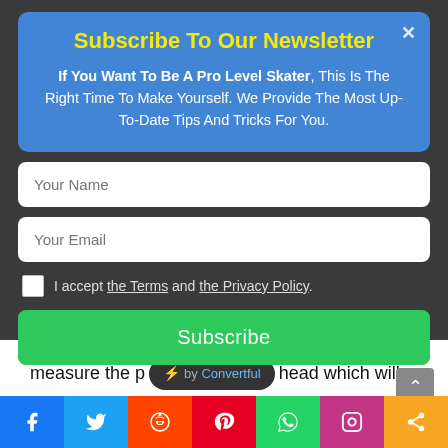Subscribe To Our Newsletter
If You Want To Be A Pro Level Skater, This Is The Right Time To Make Yourself. We Provide The Most Up-To-Date Tips And Tricks For You.
Your Name
Your Email
I accept the Terms and the Privacy Policy.
Subscribe
measure the p⚡ by Convertful head which will start from the middle of your head.
[Figure (infographic): Social media share bar with icons for Facebook, Twitter, Reddit, Pinterest, WhatsApp, Instagram, and a share icon]